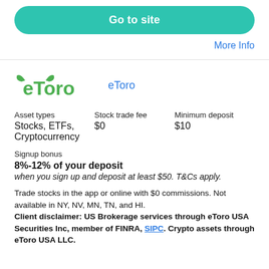Go to site
More Info
[Figure (logo): eToro bull logo in green]
eToro
| Asset types | Stock trade fee | Minimum deposit |
| --- | --- | --- |
| Stocks, ETFs, Cryptocurrency | $0 | $10 |
Signup bonus
8%-12% of your deposit
when you sign up and deposit at least $50. T&Cs apply.
Trade stocks in the app or online with $0 commissions. Not available in NY, NV, MN, TN, and HI. Client disclaimer: US Brokerage services through eToro USA Securities Inc, member of FINRA, SIPC. Crypto assets through eToro USA LLC.